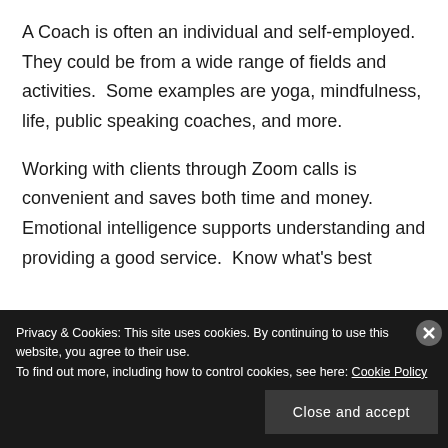A Coach is often an individual and self-employed. They could be from a wide range of fields and activities.  Some examples are yoga, mindfulness, life, public speaking coaches, and more.
Working with clients through Zoom calls is convenient and saves both time and money. Emotional intelligence supports understanding and providing a good service.  Know what's best
Privacy & Cookies: This site uses cookies. By continuing to use this website, you agree to their use.
To find out more, including how to control cookies, see here: Cookie Policy
Close and accept